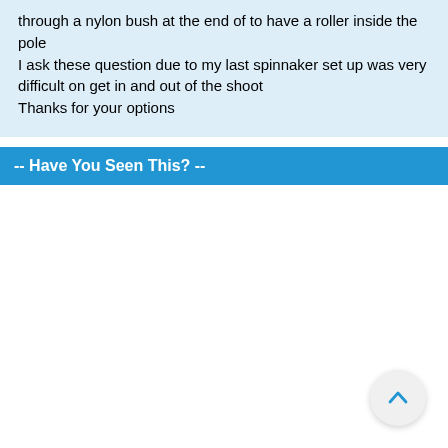through a nylon bush at the end of to have a roller inside the pole
I ask these question due to my last spinnaker set up was very difficult on get in and out of the shoot
Thanks for your options
-- Have You Seen This? --